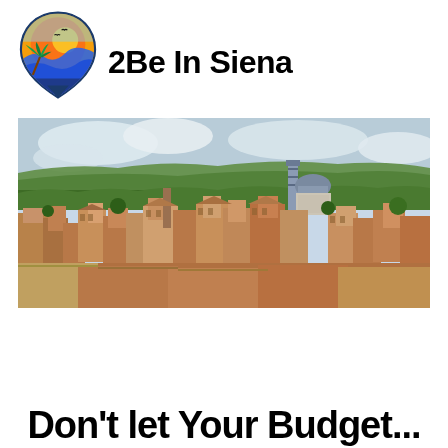[Figure (logo): 2Be In Siena travel brand logo: teardrop/location-pin shape with palm tree, sunset, mountains, and birds silhouette inside]
2Be In Siena
[Figure (photo): Aerial panoramic photograph of Siena, Italy showing terracotta rooftops of the medieval city with the Siena Cathedral (Duomo) dome and bell tower visible in the background, surrounded by green Tuscan countryside]
Don't let Your Budget...